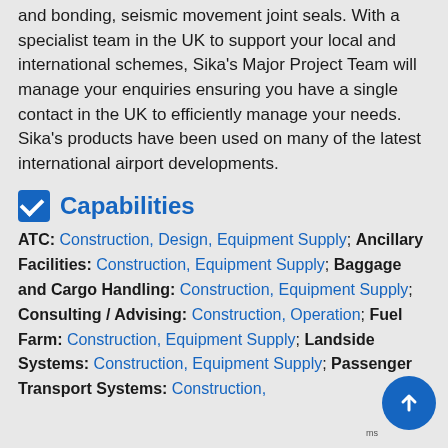and bonding, seismic movement joint seals. With a specialist team in the UK to support your local and international schemes, Sika's Major Project Team will manage your enquiries ensuring you have a single contact in the UK to efficiently manage your needs. Sika's products have been used on many of the latest international airport developments.
Capabilities
ATC: Construction, Design, Equipment Supply; Ancillary Facilities: Construction, Equipment Supply; Baggage and Cargo Handling: Construction, Equipment Supply; Consulting / Advising: Construction, Operation; Fuel Farm: Construction, Equipment Supply; Landside Systems: Construction, Equipment Supply; Passenger Transport Systems: Construction,